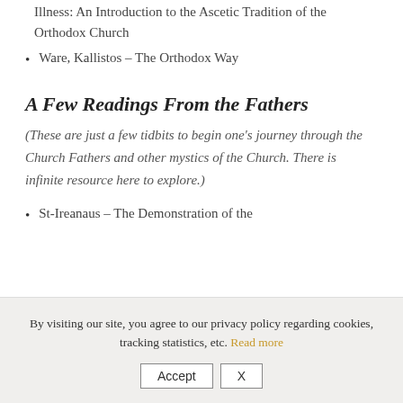Illness: An Introduction to the Ascetic Tradition of the Orthodox Church
Ware, Kallistos – The Orthodox Way
A Few Readings From the Fathers
(These are just a few tidbits to begin one's journey through the Church Fathers and other mystics of the Church. There is infinite resource here to explore.)
St-Ireanaus – The Demonstration of the
By visiting our site, you agree to our privacy policy regarding cookies, tracking statistics, etc. Read more
Accept  X